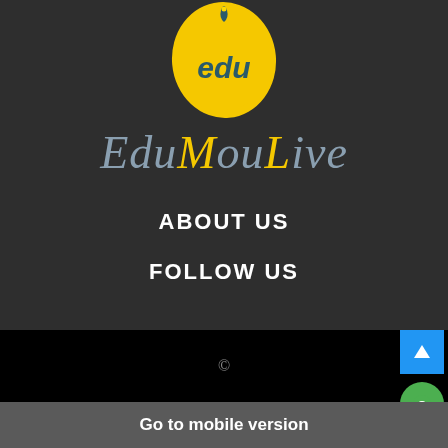[Figure (logo): EduMouLive logo: yellow oval with 'edu' text in dark teal and a fountain pen nib above it]
EduMouLive
ABOUT US
FOLLOW US
©
Go to mobile version